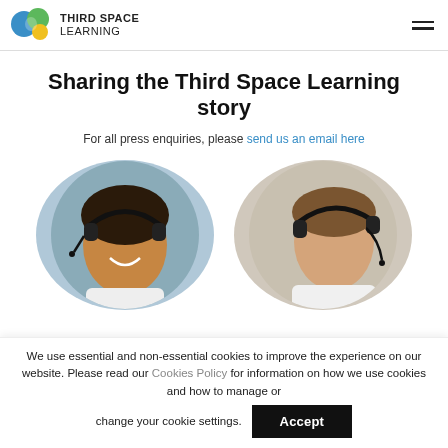Third Space Learning
Sharing the Third Space Learning story
For all press enquiries, please send us an email here
[Figure (photo): Two circular cropped photos side by side: left shows a smiling girl wearing a headset, right shows a boy wearing a headset looking at a screen.]
We use essential and non-essential cookies to improve the experience on our website. Please read our Cookies Policy for information on how we use cookies and how to manage or change your cookie settings.